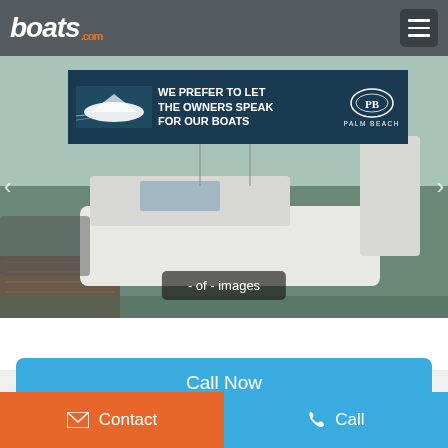boats.com
[Figure (screenshot): Boats.com mobile website screenshot showing a marina with white boats docked, overlaid with a Palm Beach dealer ad banner reading WE PREFER TO LET THE OWNERS SPEAK FOR OUR BOATS]
- of - images
Call Now
Send Email
Contact
Call